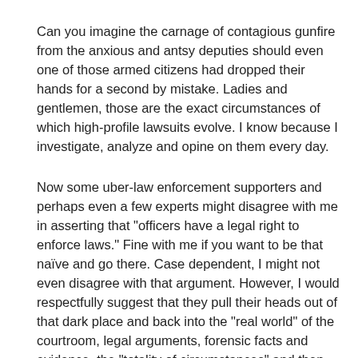Can you imagine the carnage of contagious gunfire from the anxious and antsy deputies should even one of those armed citizens had dropped their hands for a second by mistake. Ladies and gentlemen, those are the exact circumstances of which high-profile lawsuits evolve. I know because I investigate, analyze and opine on them every day.
Now some uber-law enforcement supporters and perhaps even a few experts might disagree with me in asserting that "officers have a legal right to enforce laws." Fine with me if you want to be that naïve and go there. Case dependent, I might not even disagree with that argument. However, I would respectfully suggest that they pull their heads out of that dark place and back into the "real world" of the courtroom, legal arguments, forensic facts and evidence, the "totality of circumstances" and then consider those pesky pissed off, out of work, lost their businesses and savings jurors who are sure to practice what is referred as "jury